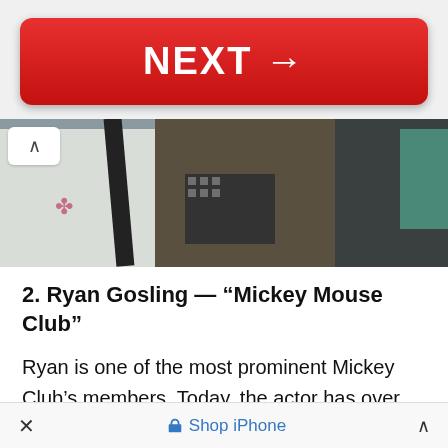[Figure (other): Red NEXT button with arrow]
[Figure (photo): Partial photo showing people, cropped view with up-arrow navigation button overlay]
2. Ryan Gosling — “Mickey Mouse Club”
Ryan is one of the most prominent Mickey Club’s members. Today, the actor has over 50 outstanding roles in films, TV shows, two Oscar nominations, and a Golden Globe. Not too shabby for a 40-year-old man! Disney may have given Ryan a big early boost, but his immense talent and charisma earned him all the success that followed.
×    Shop iPhone   ∧